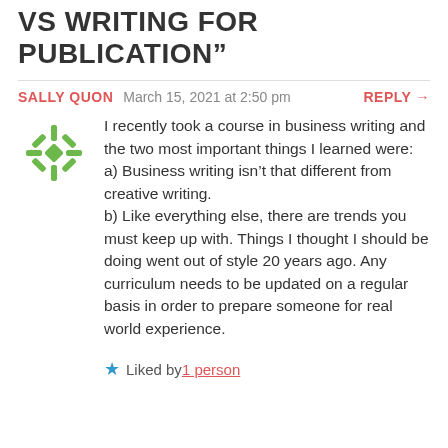VS WRITING FOR PUBLICATION"
SALLY QUON   March 15, 2021 at 2:50 pm   REPLY →
I recently took a course in business writing and the two most important things I learned were: a) Business writing isn't that different from creative writing. b) Like everything else, there are trends you must keep up with. Things I thought I should be doing went out of style 20 years ago. Any curriculum needs to be updated on a regular basis in order to prepare someone for real world experience.
Liked by 1 person